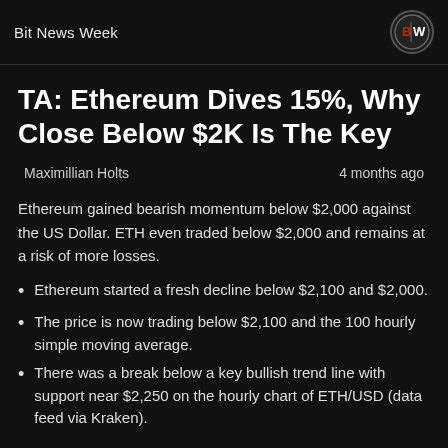Bit News Week
TA: Ethereum Dives 15%, Why Close Below $2K Is The Key
Maximillian Holts   4 months ago
Ethereum gained bearish momentum below $2,000 against the US Dollar. ETH even traded below $2,000 and remains at a risk of more losses.
Ethereum started a fresh decline below $2,100 and $2,000.
The price is now trading below $2,100 and the 100 hourly simple moving average.
There was a break below a key bullish trend line with support near $2,250 on the hourly chart of ETH/USD (data feed via Kraken).